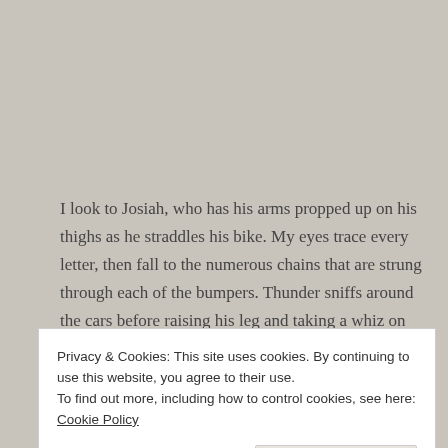I look to Josiah, who has his arms propped up on his thighs as he straddles his bike. My eyes trace every letter, then fall to the numerous chains that are strung through each of the bumpers. Thunder sniffs around the cars before raising his leg and taking a whiz on one of the front tires. Neither Josiah or I can manage a smile this time.
Privacy & Cookies: This site uses cookies. By continuing to use this website, you agree to their use.
To find out more, including how to control cookies, see here: Cookie Policy
Close and accept